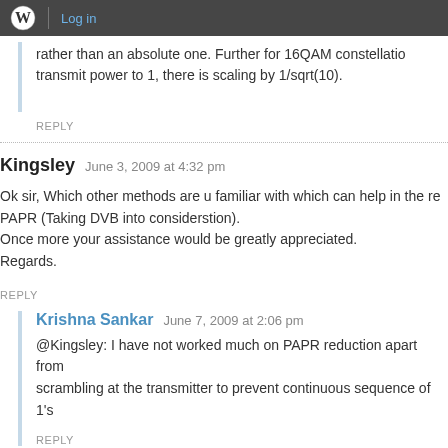Log in
rather than an absolute one. Further for 16QAM constellation transmit power to 1, there is scaling by 1/sqrt(10).
REPLY
Kingsley   June 3, 2009 at 4:32 pm
Ok sir, Which other methods are u familiar with which can help in the re PAPR (Taking DVB into considerstion).
Once more your assistance would be greatly appreciated.
Regards.
REPLY
Krishna Sankar   June 7, 2009 at 2:06 pm
@Kingsley: I have not worked much on PAPR reduction apart from scrambling at the transmitter to prevent continuous sequence of 1's
REPLY